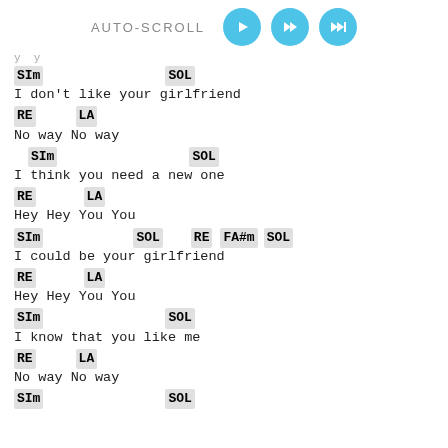AUTO-SCROLL
SIm   SOL
I don't like your girlfriend
RE   LA
No way No way
SIm   SOL
I think you need a new one
RE   LA
Hey Hey You You
SIm   SOL   RE   FA#m   SOL
I could be your girlfriend
RE   LA
Hey Hey You You
SIm   SOL
I know that you like me
RE   LA
No way No way
SIm   SOL